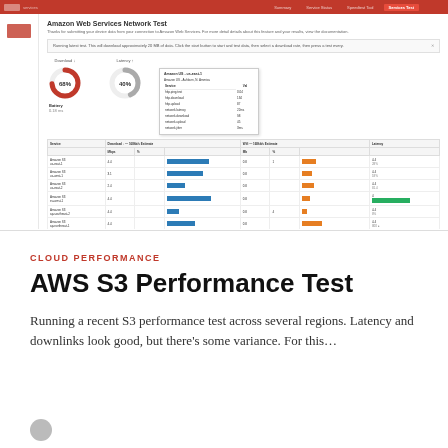[Figure (screenshot): Amazon Web Services Network Test page screenshot showing donut charts for Download and Latency metrics, and a data table with regional performance metrics including bars for bandwidth and latency across multiple AWS regions.]
CLOUD PERFORMANCE
AWS S3 Performance Test
Running a recent S3 performance test across several regions. Latency and downlinks look good, but there’s some variance. For this…